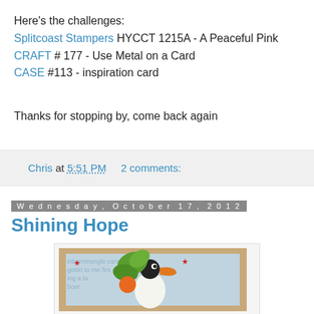Here's the challenges:
Splitcoast Stampers HYCCT 1215A - A Peaceful Pink
CRAFT # 177 - Use Metal on a Card
CASE #113 - inspiration card
Thanks for stopping by, come back again
Chris at 5:51 PM    2 comments:
Wednesday, October 17, 2012
Shining Hope
[Figure (photo): Partial view of a craft card image showing a toucan or bird figure with green and orange elements on a text-patterned background]